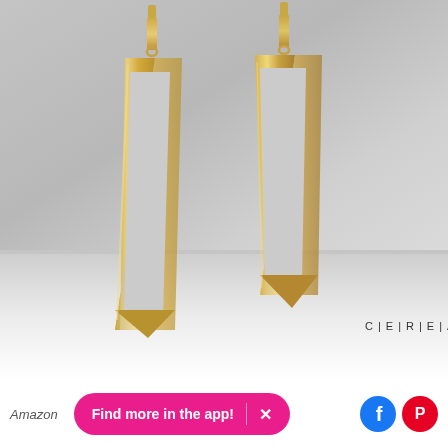[Figure (photo): Product photo of gold geometric triangle drop earrings displayed on a white CEREAL 05 box/tray background. Two elongated hollow triangle-shaped gold earrings with pointed tips hang from small bar studs.]
Amazon
Find more in the app!
[Figure (logo): Facebook logo icon (blue circle with white 'f')]
[Figure (logo): Pinterest logo icon (red circle with white 'P')]